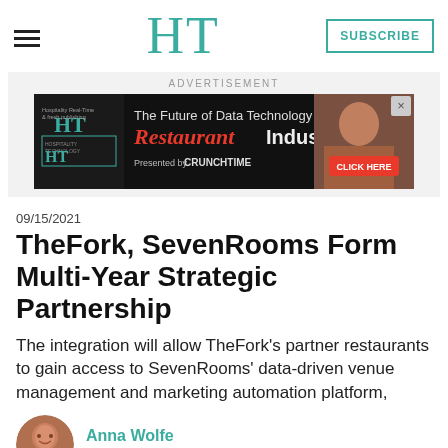HT | SUBSCRIBE
[Figure (screenshot): Advertisement banner: 'The Future of Data Technology in the Restaurant Industry - Presented by CRUNCHTIME - CLICK HERE' with HT logo and a photo of a woman]
09/15/2021
TheFork, SevenRooms Form Multi-Year Strategic Partnership
The integration will allow TheFork's partner restaurants to gain access to SevenRooms' data-driven venue management and marketing automation platform,
Anna Wolfe
Senior Editor - Restaurants